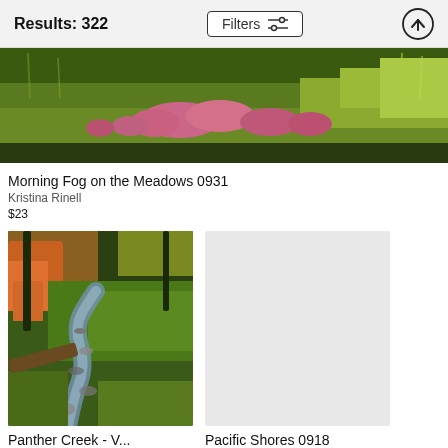Results: 322   Filters
[Figure (photo): Wide landscape photo of a meadow with pink wildflowers and tall green grasses, partially cropped at top]
Morning Fog on the Meadows 0931
Kristina Rinell
$23
[Figure (photo): Vertical photo of a forest creek with colorful autumn foliage, mossy rocks and flowing water]
Panther Creek - V...
Kristina Rinell
$23
[Figure (photo): Placeholder area for Pacific Shores 0918 photo (not visible in frame)]
Pacific Shores 0918
Kristina Rinell
$23